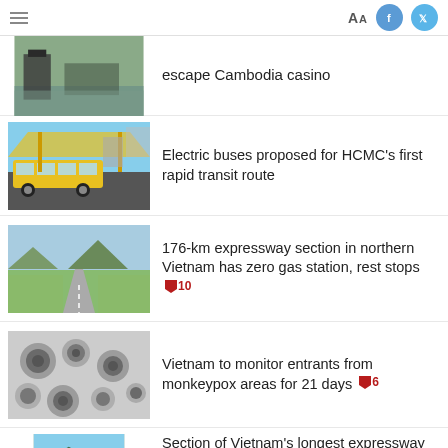Aa [Facebook] [Twitter]
escape Cambodia casino
Electric buses proposed for HCMC's first rapid transit route
176-km expressway section in northern Vietnam has zero gas station, rest stops [10 comments]
Vietnam to monitor entrants from monkeypox areas for 21 days [6 comments]
Section of Vietnam's longest expressway prepares to open